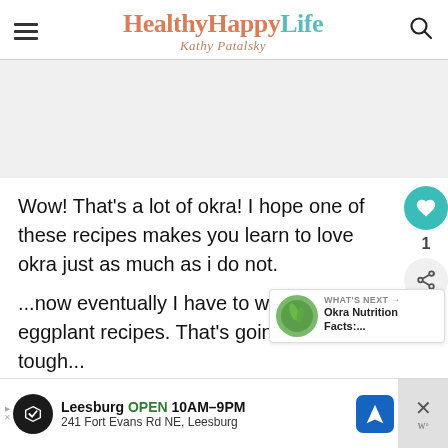HealthyHappyLife | Kathy Patalsky
[Figure (other): Gray placeholder advertisement banner area]
Wow! That's a lot of okra! I hope one of these recipes makes you learn to love okra just as much as i do not.
...now eventually I have to work on some eggplant recipes. That's going to be tough...
[Figure (other): What's Next popup with okra image, text: WHAT'S NEXT → Okra Nutrition Facts:...]
[Figure (other): Bottom advertisement banner: Leesburg OPEN 10AM-9PM, 241 Fort Evans Rd NE, Leesburg]